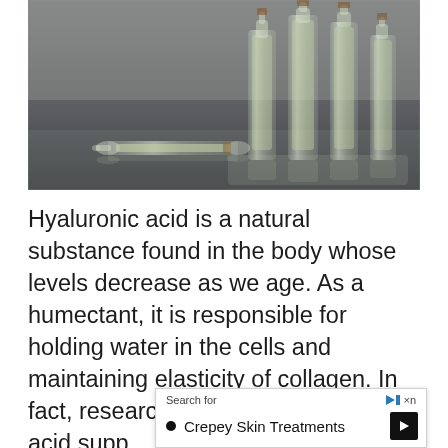[Figure (photo): Glass ampoules and vials on a reflective surface, some standing upright and one lying on its side, containing clear liquid — depicting hyaluronic acid injections or medical liquid substances.]
Hyaluronic acid is a natural substance found in the body whose levels decrease as we age. As a humectant, it is responsible for holding water in the cells and maintaining elasticity of collagen. In fact, research shows that hyaluronic acid supplements can improve skin condition with...
[Figure (other): Advertisement overlay with 'Search for' label and a search result item: 'Crepey Skin Treatments' with a play/navigate arrow button.]